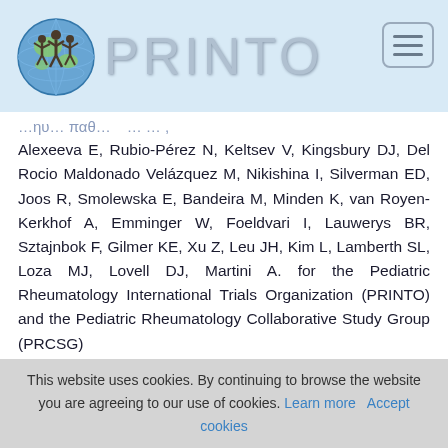PRINTO
Alexeeva E, Rubio-Pérez N, Keltsev V, Kingsbury DJ, Del Rocio Maldonado Velázquez M, Nikishina I, Silverman ED, Joos R, Smolewska E, Bandeira M, Minden K, van Royen-Kerkhof A, Emminger W, Foeldvari I, Lauwerys BR, Sztajnbok F, Gilmer KE, Xu Z, Leu JH, Kim L, Lamberth SL, Loza MJ, Lovell DJ, Martini A. for the Pediatric Rheumatology International Trials Organization (PRINTO) and the Pediatric Rheumatology Collaborative Study Group (PRCSG)
Subcutaneous golimumab for children with active polyarticular-course juvenile idiopathic arthritis: results of a multicentre, double-blind, randomised-withdrawal trial.
Ann Rheum Dis 2018;77(1):21-29
This website uses cookies. By continuing to browse the website you are agreeing to our use of cookies. Learn more  Accept cookies